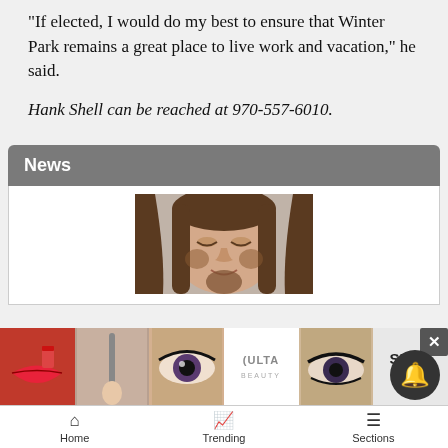“If elected, I would do my best to ensure that Winter Park remains a great place to live work and vacation,” he said.
Hank Shell can be reached at 970-557-6010.
News
[Figure (photo): Photo of a man with long brown hair and a beard, slightly smiling, taken in close-up]
[Figure (advertisement): Ulta Beauty advertisement banner with makeup images and SHOP NOW call to action]
Home  Trending  Sections